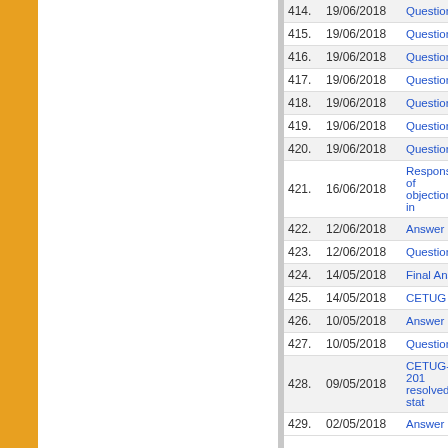| # | Date | Title |
| --- | --- | --- |
| 414. | 19/06/2018 | Question Bo… |
| 415. | 19/06/2018 | Question Bo… |
| 416. | 19/06/2018 | Question Bo… |
| 417. | 19/06/2018 | Question Bo… |
| 418. | 19/06/2018 | Question Bo… |
| 419. | 19/06/2018 | Question Bo… |
| 420. | 19/06/2018 | Question Bo… |
| 421. | 16/06/2018 | Response of objections in… |
| 422. | 12/06/2018 | Answer Key |
| 423. | 12/06/2018 | Question Bo… |
| 424. | 14/05/2018 | Final Answer… |
| 425. | 14/05/2018 | CETUG 201… |
| 426. | 10/05/2018 | Answer Key |
| 427. | 10/05/2018 | Question Bo… |
| 428. | 09/05/2018 | CETUG-201… resolved stat… |
| 429. | 02/05/2018 | Answer Ke… |